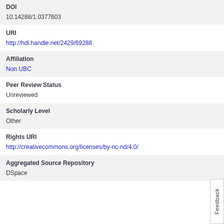DOI
10.14288/1.0377603
URI
http://hdl.handle.net/2429/69288
Affiliation
Non UBC
Peer Review Status
Unreviewed
Scholarly Level
Other
Rights URI
http://creativecommons.org/licenses/by-nc-nd/4.0/
Aggregated Source Repository
DSpace